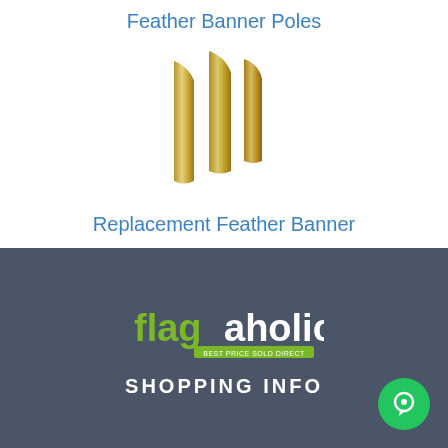Feather Banner Poles
[Figure (logo): Gold/metallic stylized feather banner poles icon - three vertical banner shapes in gold gradient]
Replacement Feather Banner
[Figure (logo): Flagaholic logo - stylized text with 'flag' in green and 'aholic' in white, with green banner underneath reading 'BEST PRICE SOLD DIRECT']
SHOPPING INFO